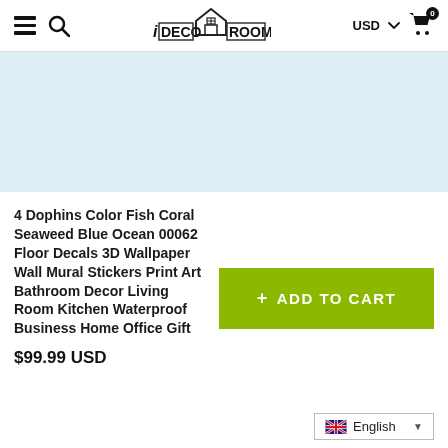iDECOROOM — USD — Cart (0)
[Figure (other): Light blue banner/hero image area, empty placeholder]
4 Dophins Color Fish Coral Seaweed Blue Ocean 00062 Floor Decals 3D Wallpaper Wall Mural Stickers Print Art Bathroom Decor Living Room Kitchen Waterproof Business Home Office Gift
$99.99 USD
+ ADD TO CART
English